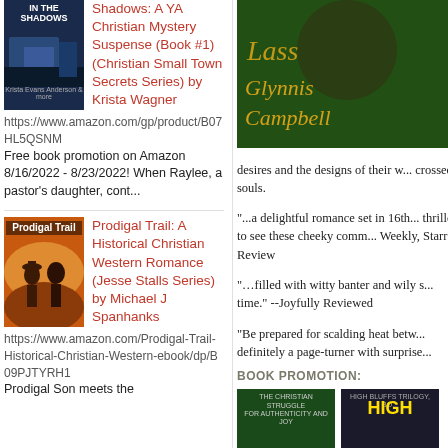[Figure (illustration): Book cover: 'In the Shadows' - dark blue cover with building and text]
Shadows: A YA Christian Mystery Suspense (Book #1) (Christian Small Town Secrets Series) by Krista Wagner
https://www.amazon.com/gp/product/B07HL5QSNM Free book promotion on Amazon 8/16/2022 - 8/23/2022! When Raylee, a pastor's daughter, cont...
[Figure (illustration): Book cover: 'Prodigal Trail' - sunset silhouette of two people]
Prodigal Trail: A Historical Christian Western Romance (Jesse Stalls Series) by Michael J Spanhanks
https://www.amazon.com/Prodigal-Trail-Historical-Christian-Western-ebook/dp/B09PJTYRH1 Prodigal Son meets the
[Figure (illustration): Book cover right column: Scottish lass by Glynnis Campbell - green background with gold text]
desires and the designs of their w... crossed souls.
"...a delightful romance set in 16th... thrilled to see these cheeky comm... Weekly, Starred Review
"…filled with witty banter and wily s... time." --Joyfully Reviewed
"Be prepared for scalding heat betw... definitely a page-turner with surprise...
BOOK PROMOTION:
[Figure (illustration): Small book cover: green - The Christian Struggle for Authenticity and Joy]
[Figure (illustration): Small book cover: dark - High Bluffs Trilogy with yellow HIGH text]